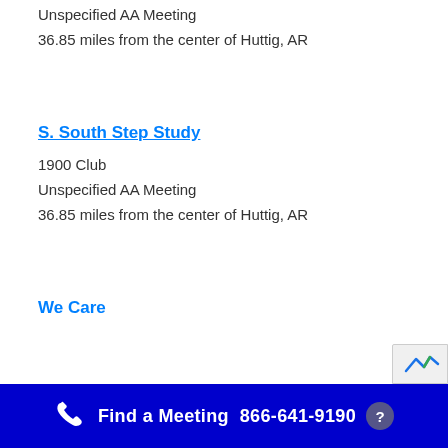Unspecified AA Meeting
36.85 miles from the center of Huttig, AR
S. South Step Study
1900 Club
Unspecified AA Meeting
36.85 miles from the center of Huttig, AR
We Care
Find a Meeting  866-641-9190